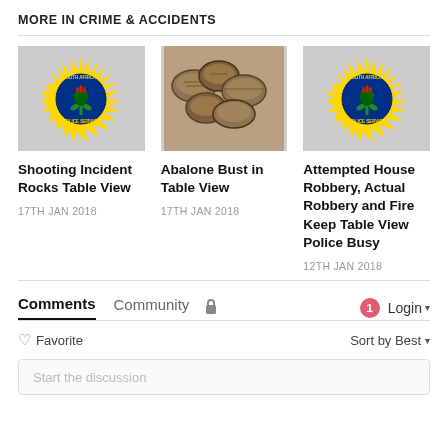MORE IN CRIME & ACCIDENTS
[Figure (photo): South African Police Service badge/logo (yellow star-burst, blue circle, green protea)]
Shooting Incident Rocks Table View
17TH JAN 2018
[Figure (photo): Photo of abalone shells on sandy ground]
Abalone Bust in Table View
17TH JAN 2018
[Figure (photo): South African Police Service badge/logo (yellow star-burst, blue circle, green protea)]
Attempted House Robbery, Actual Robbery and Fire Keep Table View Police Busy
12TH JAN 2018
Comments  Community  🔒  1  Login
♡ Favorite    Sort by Best
Start the discussion